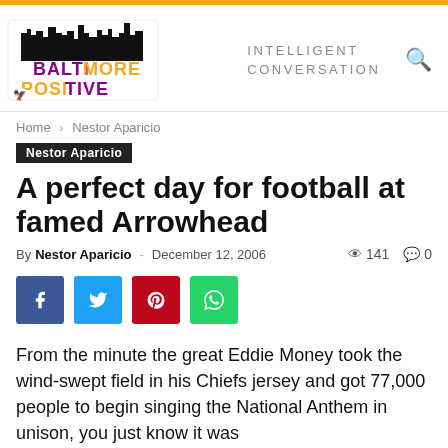Baltimore Positive — INTELLIGENT CONVERSATION
Home › Nestor Aparicio
Nestor Aparicio
A perfect day for football at famed Arrowhead
By Nestor Aparicio - December 12, 2006 · 141 views · 0 comments
[Figure (infographic): Social sharing buttons: Facebook, Twitter, Pinterest, WhatsApp]
From the minute the great Eddie Money took the wind-swept field in his Chiefs jersey and got 77,000 people to begin singing the National Anthem in unison, you just know it was